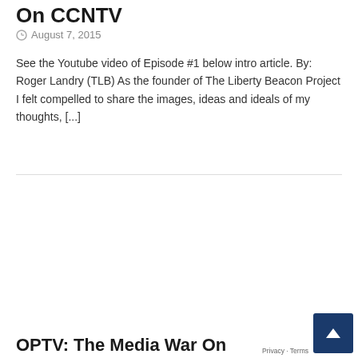On CCNTV
August 7, 2015
See the Youtube video of Episode #1 below intro article. By: Roger Landry (TLB) As the founder of The Liberty Beacon Project I felt compelled to share the images, ideas and ideals of my thoughts, [...]
[Figure (photo): Media block with dark background showing a person wearing headphones and dark glasses, with yellow text reading 'Roger Landry Founder of The Liberty Beacon Project on - OPTV']
OPTV: The Media War On Programming Ignorance